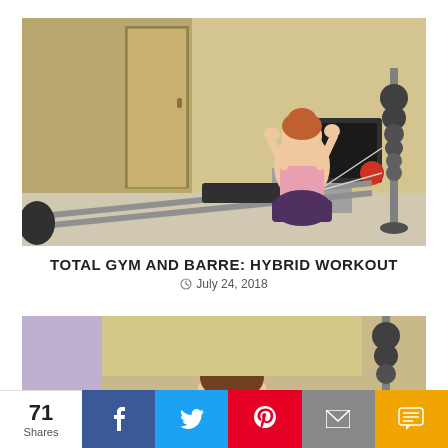[Figure (photo): Woman exercising on a Total Gym cable machine in a home gym setting, kneeling on the glide board with hands behind head, doing a crunch or row movement. Room has wooden walls, a door, a TV monitor, and weight accessories visible.]
TOTAL GYM AND BARRE: HYBRID WORKOUT
July 24, 2018
[Figure (photo): Partial view of a person on a Total Gym machine, cropped at bottom of page, showing the same room setting.]
71 Shares